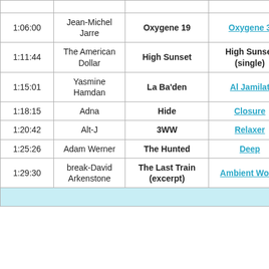| Time | Artist | Track | Album |
| --- | --- | --- | --- |
| 1:06:00 | Jean-Michel Jarre | Oxygene 19 | Oxygene 3 |
| 1:11:44 | The American Dollar | High Sunset | High Sunset (single) |
| 1:15:01 | Yasmine Hamdan | La Ba'den | Al Jamilat |
| 1:18:15 | Adna | Hide | Closure |
| 1:20:42 | Alt-J | 3WW | Relaxer |
| 1:25:26 | Adam Werner | The Hunted | Deep |
| 1:29:30 | break-David Arkenstone | The Last Train (excerpt) | Ambient World |